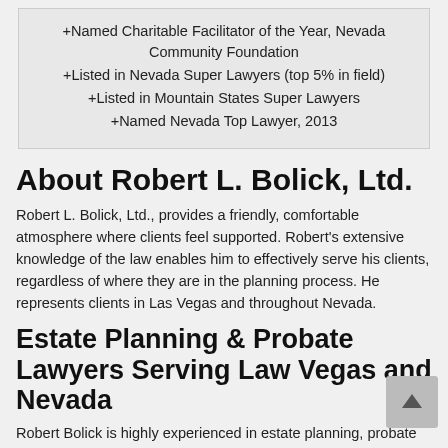+Named Charitable Facilitator of the Year, Nevada Community Foundation
+Listed in Nevada Super Lawyers (top 5% in field)
+Listed in Mountain States Super Lawyers
+Named Nevada Top Lawyer, 2013
About Robert L. Bolick, Ltd.
Robert L. Bolick, Ltd., provides a friendly, comfortable atmosphere where clients feel supported. Robert's extensive knowledge of the law enables him to effectively serve his clients, regardless of where they are in the planning process. He represents clients in Las Vegas and throughout Nevada.
Estate Planning & Probate Lawyers Serving Law Vegas and Nevada
Robert Bolick is highly experienced in estate planning, probate and asset protection law serving clients through all stages of life. Whether the concerns are estate planning for the...